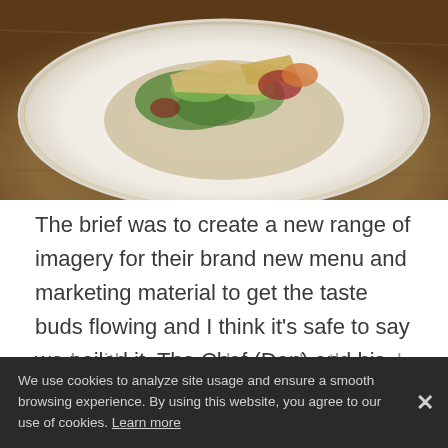[Figure (photo): A gourmet food dish on a white plate — sandwich or tartare with salad greens, microgreens, crispy croutons or wafers, and colorful vegetables, placed on a wooden table background.]
The brief was to create a new range of imagery for their brand new menu and marketing material to get the taste buds flowing and I think it's safe to say we nailed it. The Chef (Dan) and his team are incredible and created the whole menu for me to work with. I was so hungry by the end of it, the s...
We use cookies to analyze site usage and ensure a smooth browsing experience. By using this website, you agree to our use of cookies. Learn more